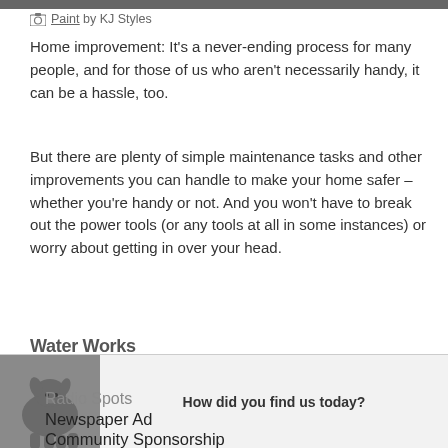[Figure (photo): Partial view of a painted room or home improvement scene at the top of the page]
Paint by KJ Styles
Home improvement: It's a never-ending process for many people, and for those of us who aren't necessarily handy, it can be a hassle, too.
But there are plenty of simple maintenance tasks and other improvements you can handle to make your home safer – whether you're handy or not. And you won't have to break out the power tools (or any tools at all in some instances) or worry about getting in over your head.
Water Works
[Figure (photo): A dark Labrador dog image overlaid on a survey widget]
How did you find us today?
Radio Spots
Newspaper Ad
Community Sponsorship
Yellow Pages
Social Media
Friend/Family Referral